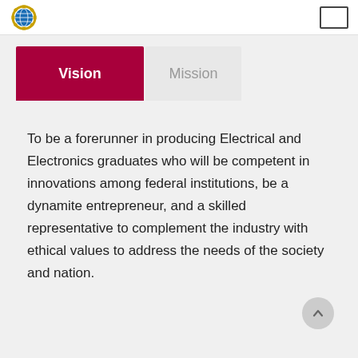Vision | Mission
To be a forerunner in producing Electrical and Electronics graduates who will be competent in innovations among federal institutions, be a dynamite entrepreneur, and a skilled representative to complement the industry with ethical values to address the needs of the society and nation.